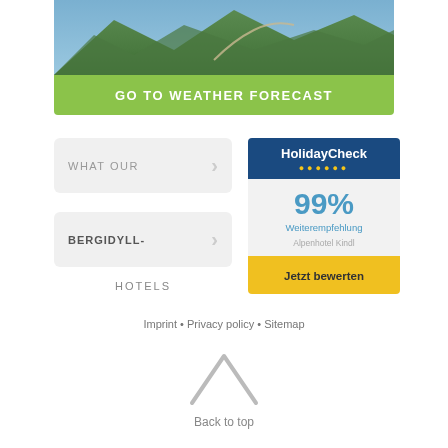[Figure (photo): Mountain aerial photograph showing green peaks and winding path]
GO TO WEATHER FORECAST
WHAT OUR >
BERGIDYLL- >
HOTELS
[Figure (infographic): HolidayCheck widget showing 99% Weiterempfehlung for Alpenhotel Kindl, with Jetzt bewerten button]
Imprint • Privacy policy • Sitemap
Back to top